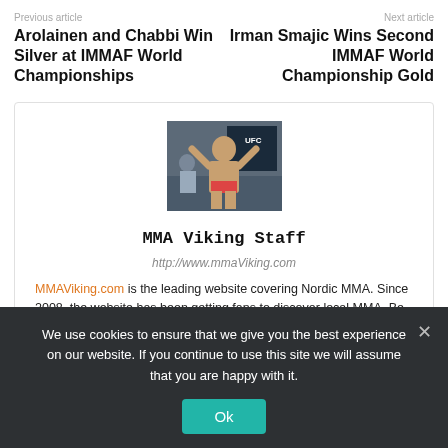Previous article
Arolainen and Chabbi Win Silver at IMMAF World Championships
Next article
Irman Smajic Wins Second IMMAF World Championship Gold
[Figure (photo): MMA fighter posing shirtless flexing at weigh-in, UFC backdrop]
MMA Viking Staff
http://www.mmaViking.com
MMAViking.com is the leading website covering Nordic MMA. Since 2008, the website has been getting fans to discover local MMA. Be sure...
We use cookies to ensure that we give you the best experience on our website. If you continue to use this site we will assume that you are happy with it.